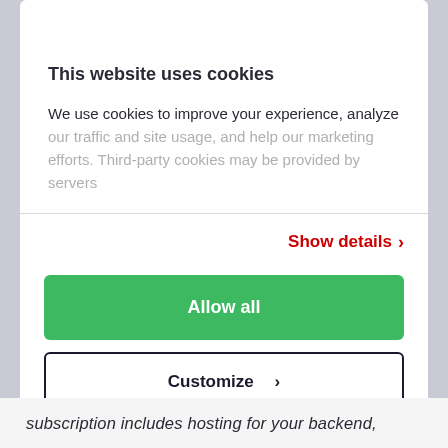This website uses cookies
We use cookies to improve your experience, analyze our traffic and site usage, and help our marketing efforts. Third-party cookies may be provided by servers
Show details >
Allow all
Customize >
Deny
subscription includes hosting for your backend,